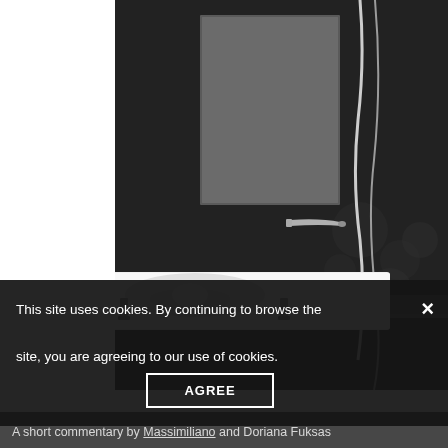[Figure (photo): Product photo of a white modern sink/washbasin on a dark charcoal wall background, with a chrome wall-mounted faucet and a mirror visible in the upper area. The sink has an organic wave-shaped bowl design. The image is a professional product/interior design photograph.]
This site uses cookies. By continuing to browse the site, you are agreeing to our use of cookies.
AGREE
A short commentary by Massimiliano and Doriana Fuksas